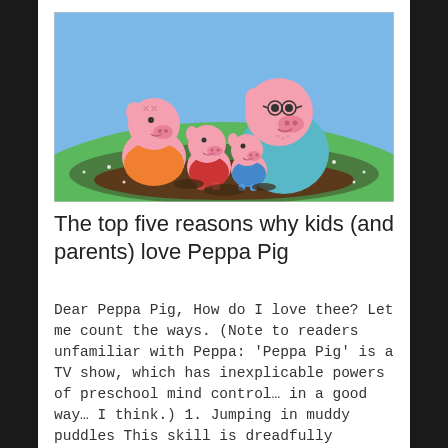[Figure (illustration): Cartoon illustration of the Peppa Pig family (Mummy Pig, Daddy Pig, Peppa Pig, and George Pig) jumping in a muddy puddle on a green hill with a blue sky background.]
The top five reasons why kids (and parents) love Peppa Pig
Dear Peppa Pig, How do I love thee? Let me count the ways. (Note to readers unfamiliar with Peppa: 'Peppa Pig' is a TV show, which has inexplicable powers of preschool mind control… in a good way… I think.) 1. Jumping in muddy puddles This skill is dreadfully important during an east coast low. Practising…